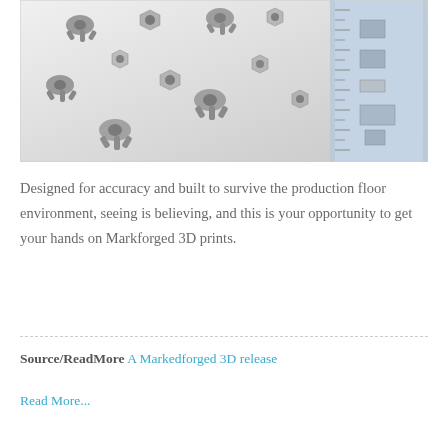[Figure (photo): Overhead photo of multiple small metal 3D-printed parts (castings/fittings) scattered on a white surface alongside a metal ruler for scale.]
Designed for accuracy and built to survive the production floor environment, seeing is believing, and this is your opportunity to get your hands on Markforged 3D prints.
Source/ReadMore A Markedforged 3D release
Read More...